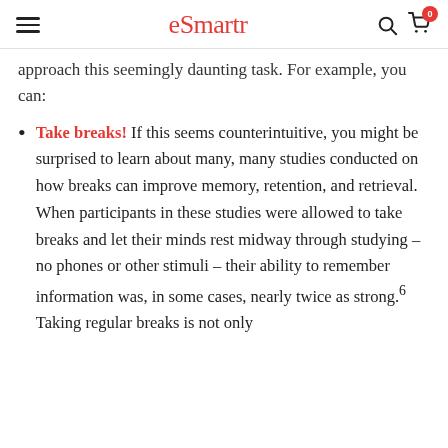eSmartr
approach this seemingly daunting task. For example, you can:
Take breaks! If this seems counterintuitive, you might be surprised to learn about many, many studies conducted on how breaks can improve memory, retention, and retrieval. When participants in these studies were allowed to take breaks and let their minds rest midway through studying – no phones or other stimuli – their ability to remember information was, in some cases, nearly twice as strong.6 Taking regular breaks is not only